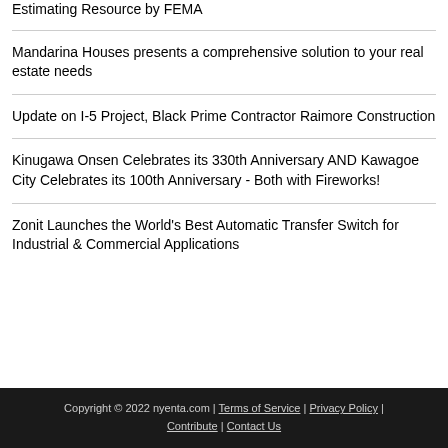Estimating Resource by FEMA
Mandarina Houses presents a comprehensive solution to your real estate needs
Update on I-5 Project, Black Prime Contractor Raimore Construction
Kinugawa Onsen Celebrates its 330th Anniversary AND Kawagoe City Celebrates its 100th Anniversary - Both with Fireworks!
Zonit Launches the World's Best Automatic Transfer Switch for Industrial & Commercial Applications
Copyright © 2022 nyenta.com | Terms of Service | Privacy Policy | Contribute | Contact Us